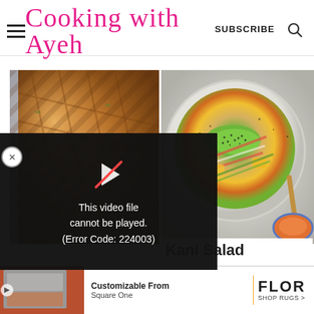Cooking with Ayeh  SUBSCRIBE
[Figure (photo): Baked casserole dish with golden-brown lattice crust, viewed from above]
[Figure (photo): Kani salad in white bowl with avocado, crab sticks, vegetables, sesame seeds, served with chopsticks and orange dipping sauce]
[Figure (screenshot): Video player error overlay: play button icon and text 'This video file cannot be played. (Error Code: 224003)']
Kani Salad
[Figure (photo): Advertisement banner: Customizable From Square One | FLOR SHOP RUGS with room image]